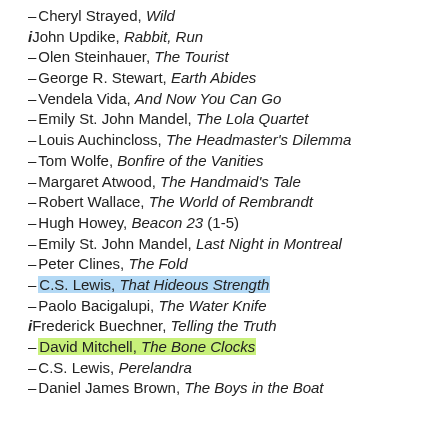– Cheryl Strayed, Wild
i John Updike, Rabbit, Run
– Olen Steinhauer, The Tourist
– George R. Stewart, Earth Abides
– Vendela Vida, And Now You Can Go
– Emily St. John Mandel, The Lola Quartet
– Louis Auchincloss, The Headmaster's Dilemma
– Tom Wolfe, Bonfire of the Vanities
– Margaret Atwood, The Handmaid's Tale
– Robert Wallace, The World of Rembrandt
– Hugh Howey, Beacon 23 (1-5)
– Emily St. John Mandel, Last Night in Montreal
– Peter Clines, The Fold
– C.S. Lewis, That Hideous Strength
– Paolo Bacigalupi, The Water Knife
i Frederick Buechner, Telling the Truth
– David Mitchell, The Bone Clocks
– C.S. Lewis, Perelandra
– Daniel James Brown, The Boys in the Boat